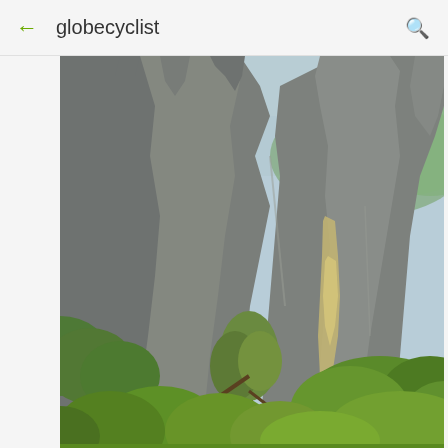globecyclist
[Figure (photo): Photograph of rugged karst limestone mountain cliffs with jagged rocky peaks, covered with green tropical trees and vegetation in the foreground. A hazy blue sky and green-forested hills are visible in the background. A light-colored streak (possibly a waterfall or rock face) is visible on the cliff face.]